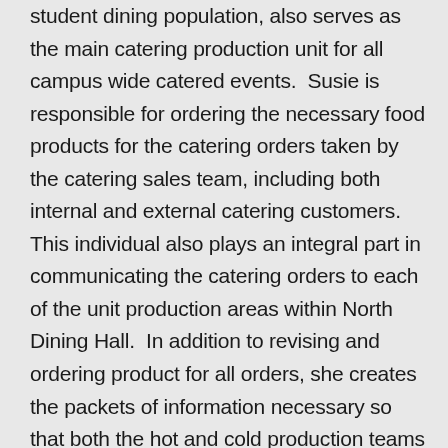student dining population, also serves as the main catering production unit for all campus wide catered events.  Susie is responsible for ordering the necessary food products for the catering orders taken by the catering sales team, including both internal and external catering customers.  This individual also plays an integral part in communicating the catering orders to each of the unit production areas within North Dining Hall.  In addition to revising and ordering product for all orders, she creates the packets of information necessary so that both the hot and cold production teams are able to execute each order.  Despite the vast amount of time and effort her duties require, Susie always takes the time to assist every employee who approaches her with questions or needs.  Whether they are calling to check their schedule, picking up a paycheck or asking for additional